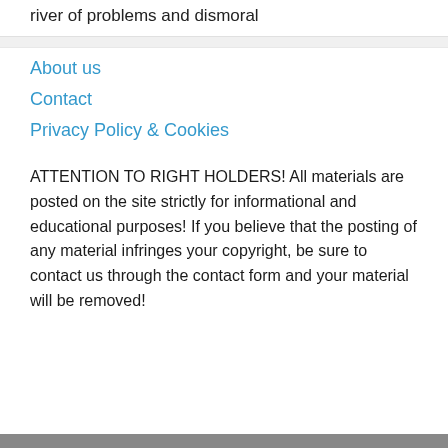river of problems and dismoral
About us
Contact
Privacy Policy & Cookies
ATTENTION TO RIGHT HOLDERS! All materials are posted on the site strictly for informational and educational purposes! If you believe that the posting of any material infringes your copyright, be sure to contact us through the contact form and your material will be removed!